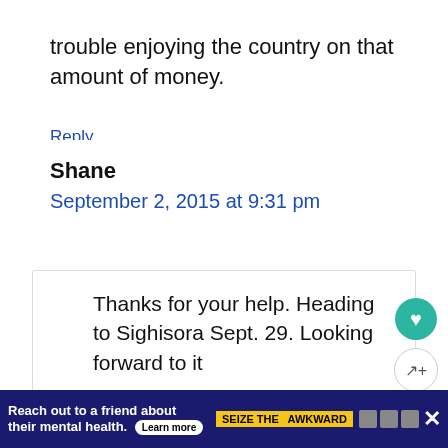trouble enjoying the country on that amount of money.
Reply
Shane
September 2, 2015 at 9:31 pm
Thanks for your help. Heading to Sighisora Sept. 29. Looking forward to it
Reach out to a friend about their mental health. Learn more | SEIZE THE AWKWARD